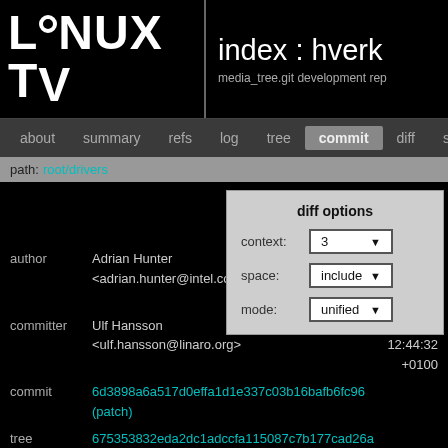index : hverk — media_tree.git development rep
about  summary  refs  log  tree  commit  diff  stats
path: root/drivers
diff options
context: 3
space: include
mode: unified
|  |  |  |
| --- | --- | --- |
| author | Adrian Hunter <adrian.hunter@intel.com> | 2017-11-29 15:41:01 +0200 |
| committer | Ulf Hansson <ulf.hansson@linaro.org> | 2017-12-11 12:44:32 +0100 |
| commit | 6d3898a6a517d0effa1d1e337c03b16bafb6fc96 (patch) |  |
| tree | 675353832eda2dc1adccfa115087c7b177cad26a /drivers |  |